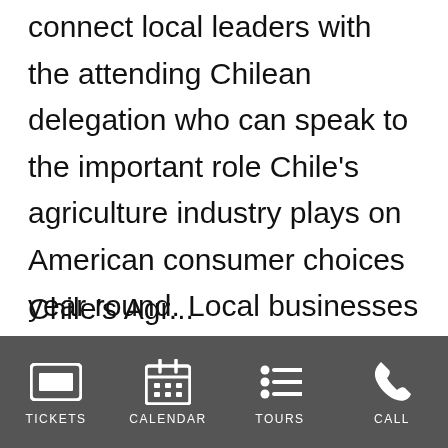During Chile Week USA, seminars will connect local leaders with the attending Chilean delegation who can speak to the important role Chile's agriculture industry plays on American consumer choices year round. Local businesses interested in learning more about Chilean exports or participating in any of these bilateral meetings can visithttps://www.direcon.gob.cl/minisitio/chileweek-eeuu/.
TICKETS | CALENDAR | TOURS | CALL